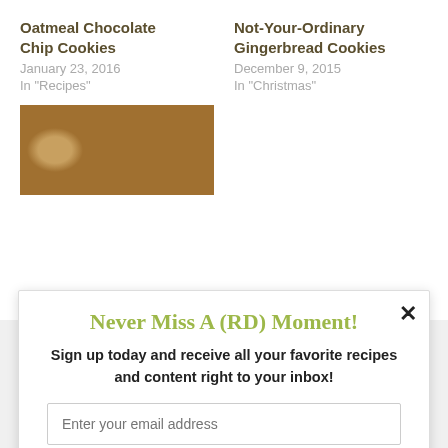Oatmeal Chocolate Chip Cookies
January 23, 2016
In "Recipes"
Not-Your-Ordinary Gingerbread Cookies
December 9, 2015
In "Christmas"
[Figure (photo): Photo of oatmeal chocolate chip cookies on a white surface]
Never Miss A (RD) Moment!
Sign up today and receive all your favorite recipes and content right to your inbox!
Enter your email address
Sign Me Up!
powered by MailMunch